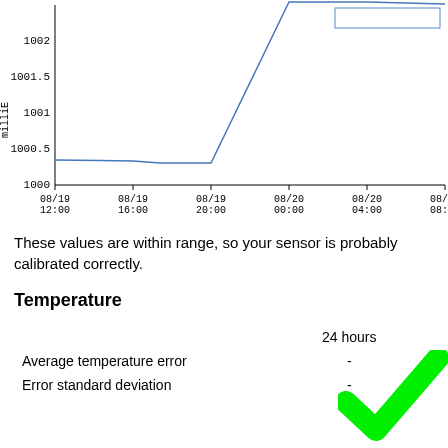[Figure (line-chart): ]
These values are within range, so your sensor is probably calibrated correctly.
Temperature
|  | 24 hours |
| --- | --- |
| Average temperature error | - |
| Error standard deviation | - |
[Figure (illustration): Green checkmark indicating sensor is calibrated correctly]